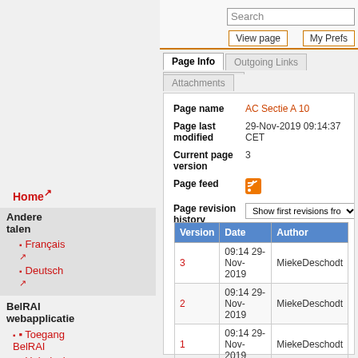Search | View page | My Prefs
Page Info | Outgoing Links | Incoming Links | Attachments
| Page name | AC Sectie A 10 |
| Page last modified | 29-Nov-2019 09:14:37 CET |
| Current page version | 3 |
| Page feed | [RSS icon] |
| Page revision history | Show first revisions from 3 to 1 |
| Version | Date | Author |
| --- | --- | --- |
| 3 | 09:14 29-Nov-2019 | MiekeDeschodt |
| 2 | 09:14 29-Nov-2019 | MiekeDeschodt |
| 1 | 09:14 29-Nov-2019 | MiekeDeschodt |
Home ↗
Andere talen
Français ↗
Deutsch ↗
BelRAI webapplicatie
Toegang BelRAI
Helpdesk
Privacy Policy
Beoordelingsi BelRAI
BelRAI Screener 2.0
interRAI Emergency Departme